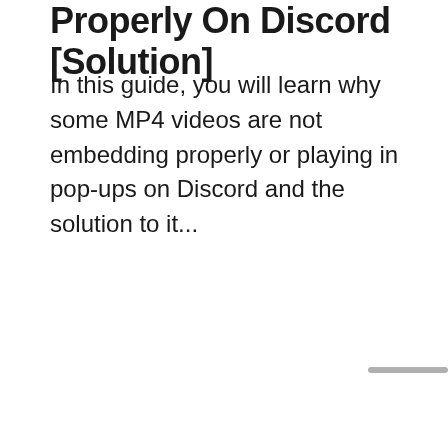Properly On Discord [Solution]
In this guide, you will learn why some MP4 videos are not embedding properly or playing in pop-ups on Discord and the solution to it...